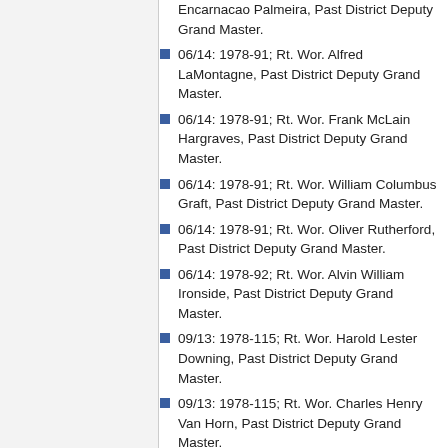06/14: 1978-91; Rt. Wor. Alfred LaMontagne, Past District Deputy Grand Master.
06/14: 1978-91; Rt. Wor. Frank McLain Hargraves, Past District Deputy Grand Master.
06/14: 1978-91; Rt. Wor. William Columbus Graft, Past District Deputy Grand Master.
06/14: 1978-91; Rt. Wor. Oliver Rutherford, Past District Deputy Grand Master.
06/14: 1978-92; Rt. Wor. Alvin William Ironside, Past District Deputy Grand Master.
09/13: 1978-115; Rt. Wor. Harold Lester Downing, Past District Deputy Grand Master.
09/13: 1978-115; Rt. Wor. Charles Henry Van Horn, Past District Deputy Grand Master.